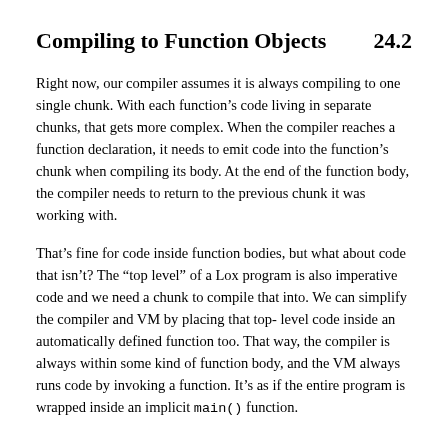Compiling to Function Objects    24.2
Right now, our compiler assumes it is always compiling to one single chunk. With each function’s code living in separate chunks, that gets more complex. When the compiler reaches a function declaration, it needs to emit code into the function’s chunk when compiling its body. At the end of the function body, the compiler needs to return to the previous chunk it was working with.
That’s fine for code inside function bodies, but what about code that isn’t? The “top level” of a Lox program is also imperative code and we need a chunk to compile that into. We can simplify the compiler and VM by placing that top-level code inside an automatically defined function too. That way, the compiler is always within some kind of function body, and the VM always runs code by invoking a function. It’s as if the entire program is wrapped inside an implicit main() function.